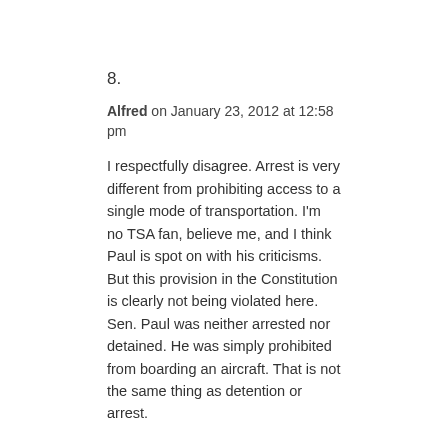8.
Alfred on January 23, 2012 at 12:58 pm
I respectfully disagree. Arrest is very different from prohibiting access to a single mode of transportation. I'm no TSA fan, believe me, and I think Paul is spot on with his criticisms. But this provision in the Constitution is clearly not being violated here. Sen. Paul was neither arrested nor detained. He was simply prohibited from boarding an aircraft. That is not the same thing as detention or arrest.
Gods Creation on January 23, 2012 at 3:45 pm
I stop you from doing what you want to do and force you to do what I want you to do, I have detained you, which is the same thing as an arrest.